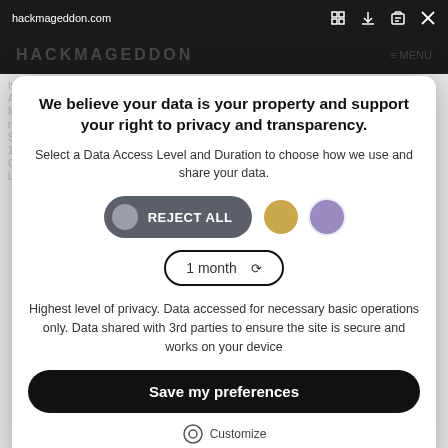hackmageddon.com
We believe your data is your property and support your right to privacy and transparency.
Select a Data Access Level and Duration to choose how we use and share your data.
REJECT ALL
1 month
Highest level of privacy. Data accessed for necessary basic operations only. Data shared with 3rd parties to ensure the site is secure and works on your device
Save my preferences
Customize